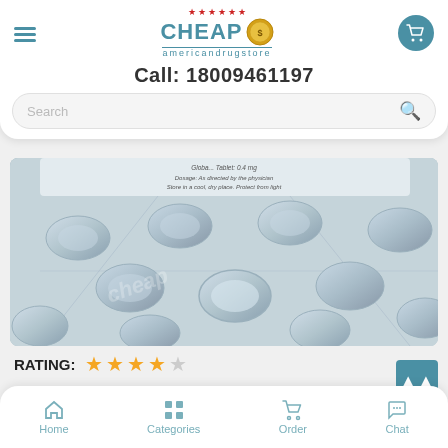[Figure (logo): Cheap American Drug Store logo with stars, coin, and teal text]
Call: 18009461197
[Figure (screenshot): Close-up photo of silver pill blister packs with diamond-shaped tablets, watermarked with 'cheap']
RATING: ★★★★☆
Brand: Sunrise Remedies | Availability: In Stock
Home  Categories  Order  Chat